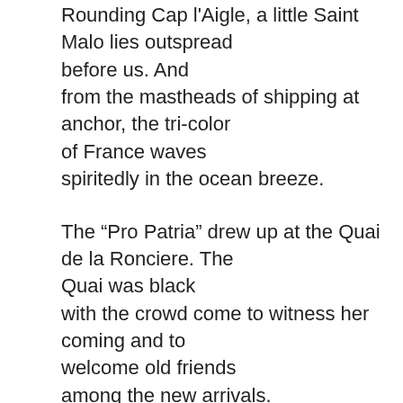Rounding Cap l'Aigle, a little Saint Malo lies outspread before us. And from the mastheads of shipping at anchor, the tri-color of France waves spiritedly in the ocean breeze.
The “Pro Patria” drew up at the Quai de la Ronciere. The Quai was black with the crowd come to witness her coming and to welcome old friends among the new arrivals.
* * * * *
All the maisons and shops about the Square that faces the Quai, have steep roofs like the parent roofs back in France and like their sisters